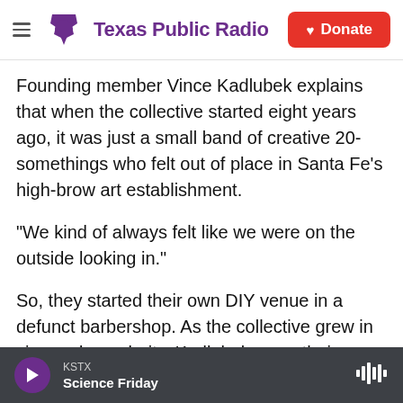Texas Public Radio | Donate
Founding member Vince Kadlubek explains that when the collective started eight years ago, it was just a small band of creative 20-somethings who felt out of place in Santa Fe's high-brow art establishment.
"We kind of always felt like we were on the outside looking in."
So, they started their own DIY venue in a defunct barbershop. As the collective grew in size and popularity, Kadlubek says, their immersive shows grew more elaborate.
KSTX
Science Friday